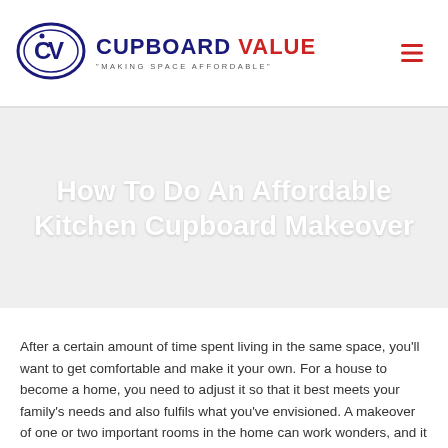[Figure (logo): Cupboard Value logo: oval shape with CV monogram in navy blue, beside the brand name CUPBOARD VALUE with tagline MAKING SPACE AFFORDABLE]
How To Do An Affordable Kitchen Cupboard Makeover
After a certain amount of time spent living in the same space, you'll want to get comfortable and make it your own. For a house to become a home, you need to adjust it so that it best meets your family's needs and also fulfils what you've envisioned. A makeover of one or two important rooms in the home can work wonders, and it usually ends up being a room that's frequently